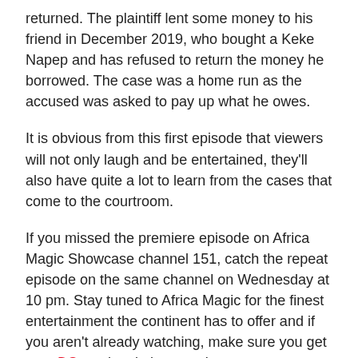returned. The plaintiff lent some money to his friend in December 2019, who bought a Keke Napep and has refused to return the money he borrowed. The case was a home run as the accused was asked to pay up what he owes.
It is obvious from this first episode that viewers will not only laugh and be entertained, they'll also have quite a lot to learn from the cases that come to the courtroom.
If you missed the premiere episode on Africa Magic Showcase channel 151, catch the repeat episode on the same channel on Wednesday at 10 pm. Stay tuned to Africa Magic for the finest entertainment the continent has to offer and if you aren't already watching, make sure you get your DStv subscription asap!
To get in on this unmissable offer, DStv customers simply need to make sure their subscription is fully paid up, sit